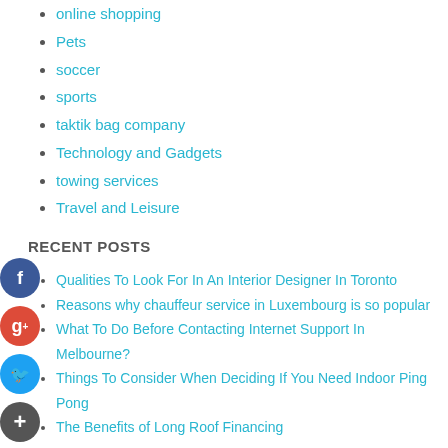online shopping
Pets
soccer
sports
taktik bag company
Technology and Gadgets
towing services
Travel and Leisure
RECENT POSTS
Qualities To Look For In An Interior Designer In Toronto
Reasons why chauffeur service in Luxembourg is so popular
What To Do Before Contacting Internet Support In Melbourne?
Things To Consider When Deciding If You Need Indoor Ping Pong
The Benefits of Long Roof Financing